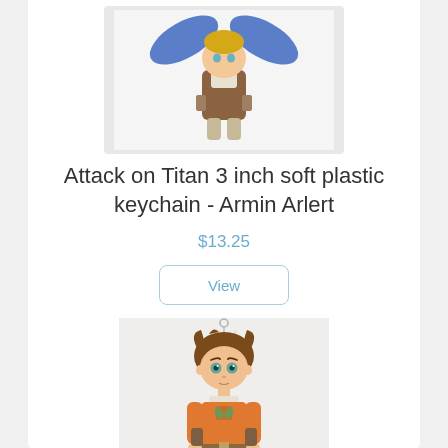[Figure (photo): Photo of Attack on Titan chibi keychain figure - character with blue wings/cape, brown outfit, shown from waist up on white background]
Attack on Titan 3 inch soft plastic keychain - Armin Arlert
$13.25
View
[Figure (photo): Photo of Attack on Titan chibi Eren Jaeger soft plastic keychain, brown hair, teal eyes, orange jacket with Survey Corps emblem, on a small ball chain]